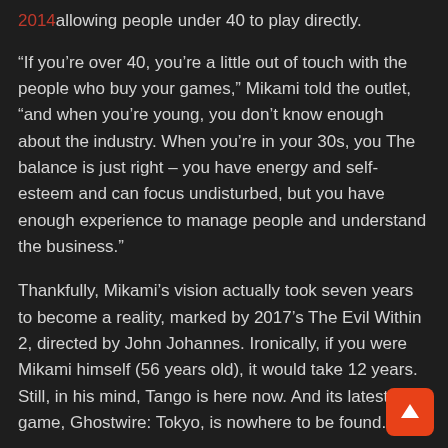2014allowing people under 40 to play directly.
“If you’re over 40, you’re a little out of touch with the people who buy your games,” Mikami told the outlet, “and when you’re young, you don’t know enough about the industry. When you’re in your 30s, you The balance is just right – you have energy and self-esteem and can focus undisturbed, but you have enough experience to manage people and understand the business.”
Thankfully, Mikami’s vision actually took seven years to become a reality, marked by 2017’s The Evil Within 2, directed by John Johannes. Ironically, if you were Mikami himself (56 years old), it would take 12 years. Still, in his mind, Tango is here now. And its latest game, Ghostwire: Tokyo, is nowhere to be found.
Ghostwire: Tokyo, the latest game from Tango Gamewor… During Tango’s early history, Mikami conducted many interviews about his vision. But at the time, it was just: a